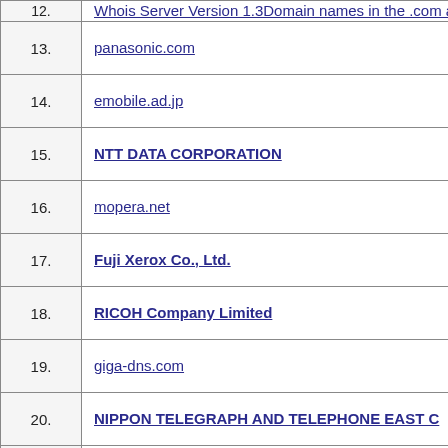| # | Entry |
| --- | --- |
| 12. | Whois Server Version 1.3Domain names in the .com a... |
| 13. | panasonic.com |
| 14. | emobile.ad.jp |
| 15. | NTT DATA CORPORATION |
| 16. | mopera.net |
| 17. | Fuji Xerox Co., Ltd. |
| 18. | RICOH Company Limited |
| 19. | giga-dns.com |
| 20. | NIPPON TELEGRAPH AND TELEPHONE EAST C... |
| 21. | Net One Systems Co.,Ltd. |
| 22. | NIPPON TELEGRAPH AND TELEPHONE CORPO... |
| 23. | NRI Internet Connection Service |
| 24. | iij.ad.jp |
| 25. |  |